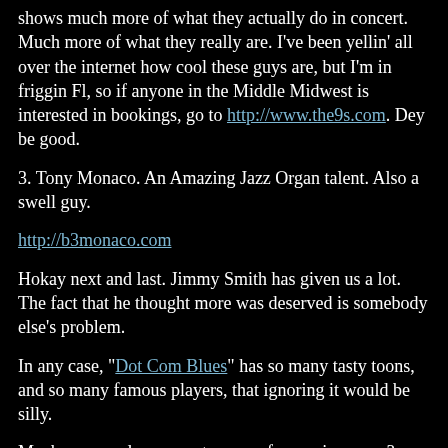shows much more of what they actually do in concert. Much more of what they really are. I've been yellin' all over the internet how cool these guys are, but I'm in friggin Fl, so if anyone in the Middle Midwest is interested in bookings, go to http://www.the9s.com. Dey be good.
3. Tony Monaco. An Amazing Jazz Organ talent. Also a swell guy.
http://b3monaco.com
Hokay next and last. Jimmy Smith has given us a lot. The fact that he thought more was deserved is somebody else's problem.
In any case, "Dot Com Blues" has so many tasty toons, and so many famous players, that ignoring it would be silly.
Maybe we needs a separate venue for music revues?
pda